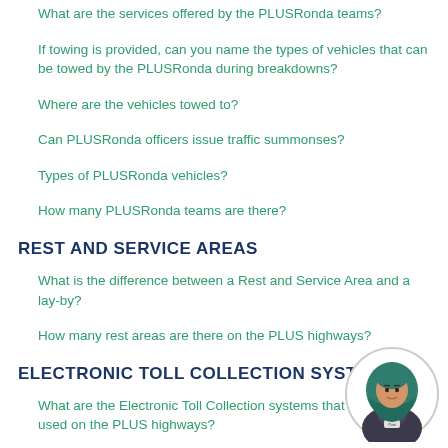What are the services offered by the PLUSRonda teams?
If towing is provided, can you name the types of vehicles that can be towed by the PLUSRonda during breakdowns?
Where are the vehicles towed to?
Can PLUSRonda officers issue traffic summonses?
Types of PLUSRonda vehicles?
How many PLUSRonda teams are there?
REST AND SERVICE AREAS
What is the difference between a Rest and Service Area and a lay-by?
How many rest areas are there on the PLUS highways?
ELECTRONIC TOLL COLLECTION SYSTEM
What are the Electronic Toll Collection systems that are being used on the PLUS highways?
What is a PLUSTrack? What are the benefits? How do I apply?
[Figure (illustration): Avatar of a female customer service agent wearing hijab and a uniform with a name badge]